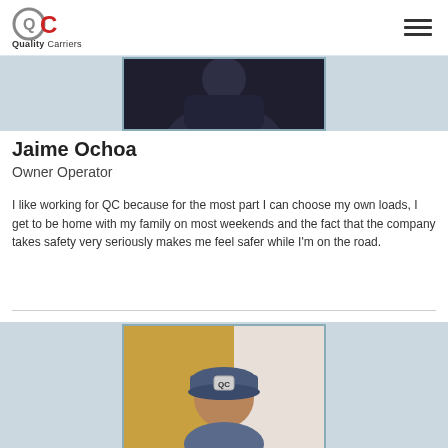Quality Carriers
[Figure (photo): Partial photo of a person at the top of the profile card, dark clothing visible]
Jaime Ochoa
Owner Operator
I like working for QC because for the most part I can choose my own loads, I get to be home with my family on most weekends and the fact that the company takes safety very seriously makes me feel safer while I'm on the road.
[Figure (photo): Photo of a person wearing a QC branded cap, yellow/tan background]